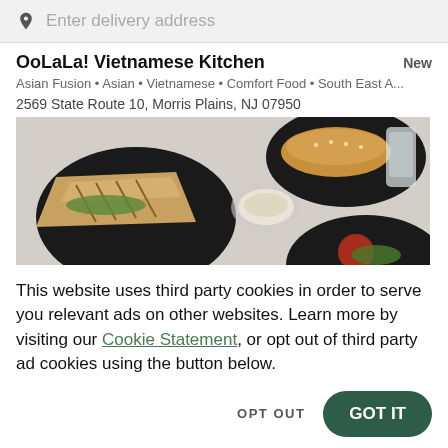Enter delivery address
OoLaLa! Vietnamese Kitchen
Asian Fusion • Asian • Vietnamese • Comfort Food • South East A...
2569 State Route 10, Morris Plains, NJ 07950
[Figure (photo): Overhead view of food dishes on dark plates including grilled sandwiches, bread rolls, and vegetables on a light background]
This website uses third party cookies in order to serve you relevant ads on other websites. Learn more by visiting our Cookie Statement, or opt out of third party ad cookies using the button below.